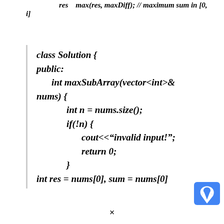res    max(res, maxDiff); // maximum sum in [0, i]
class Solution {
public:
    int maxSubArray(vector<int>& nums) {
        int n = nums.size();
        if(!n) {
            cout<<"invalid input!";
            return 0;
        }
        int res = nums[0], sum = nums[0]